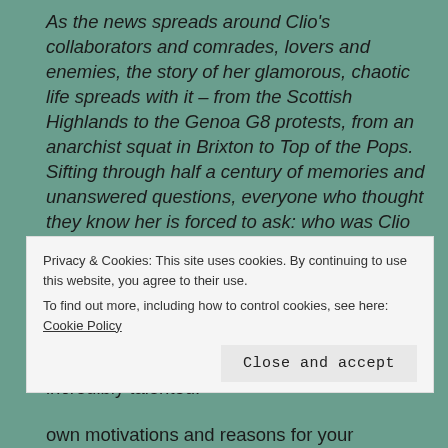As the news spreads around Clio's collaborators and comrades, lovers and enemies, the story of her glamorous, chaotic life spreads with it – from the Scottish Highlands to the Genoa G8 protests, from an anarchist squat in Brixton to Top of the Pops. Sifting through half a century of memories and unanswered questions, everyone who thought they know her is forced to ask: who was Clio Campbell?
There's no question that this is an extremely well-written book, and that that the author is incredibly talented.
own motivations and reasons for your
Privacy & Cookies: This site uses cookies. By continuing to use this website, you agree to their use.
To find out more, including how to control cookies, see here: Cookie Policy
Close and accept